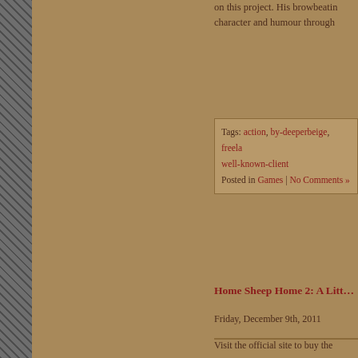on this project. His browbeating character and humour through
Tags: action, by-deeperbeige, freela... well-known-client
Posted in Games | No Comments »
Home Sheep Home 2: A Litt...
Friday, December 9th, 2011
[Figure (other): Embedded image or game screenshot placeholder]
Visit the official site to buy the